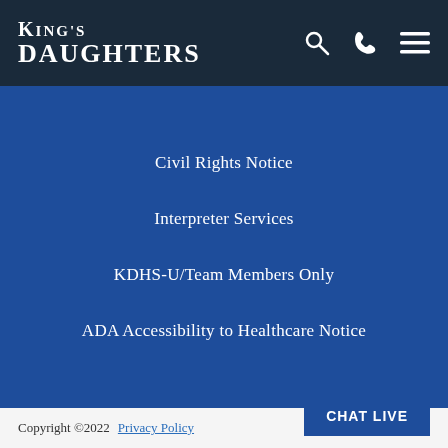King's Daughters
Civil Rights Notice
Interpreter Services
KDHS-U/Team Members Only
ADA Accessibility to Healthcare Notice
Copyright ©2022  Privacy Policy  Site M...  CHAT LIVE